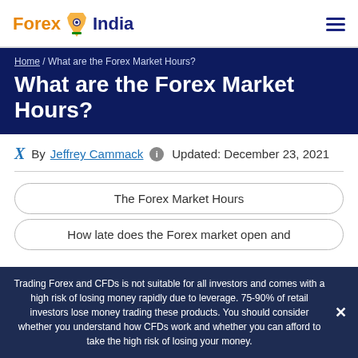Forex India [logo] / hamburger menu
Home / What are the Forex Market Hours?
What are the Forex Market Hours?
By Jeffrey Cammack  Updated: December 23, 2021
The Forex Market Hours
How late does the Forex market open and
Trading Forex and CFDs is not suitable for all investors and comes with a high risk of losing money rapidly due to leverage. 75-90% of retail investors lose money trading these products. You should consider whether you understand how CFDs work and whether you can afford to take the high risk of losing your money.